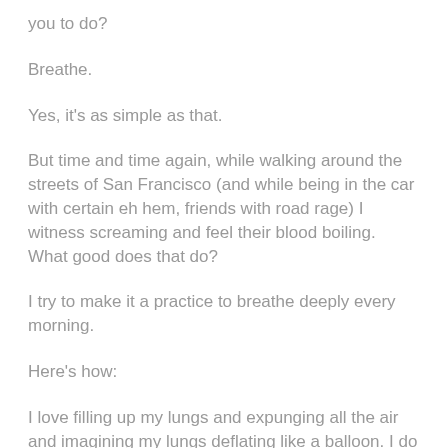you to do?
Breathe.
Yes, it's as simple as that.
But time and time again, while walking around the streets of San Francisco (and while being in the car with certain eh hem, friends with road rage) I witness screaming and feel their blood boiling. What good does that do?
I try to make it a practice to breathe deeply every morning.
Here's how:
I love filling up my lungs and expunging all the air and imagining my lungs deflating like a balloon. I do this almost every morning with a 20-30 minute yoga routine.